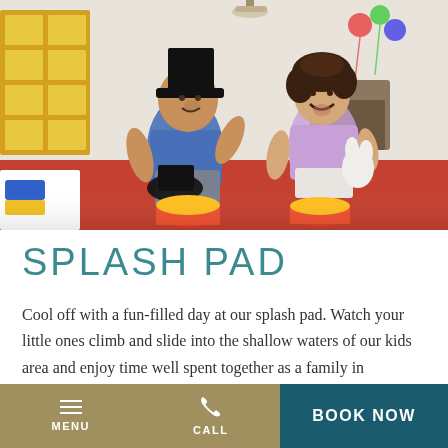[Figure (photo): Two children playing in a colorful indoor play area. A boy wearing a black top hat sits on a red and yellow drum/stool, holding another black top hat and smiling. A girl with curly hair in a lavender tank top sits nearby laughing, holding a white stuffed animal. Yellow shelving and playroom furniture visible in background.]
SPLASH PAD
Cool off with a fun-filled day at our splash pad. Watch your little ones climb and slide into the shallow waters of our kids area and enjoy time well spent together as a family in
MENU   CALL   BOOK NOW